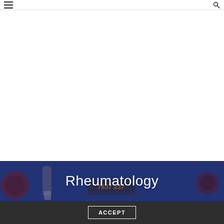[Figure (photo): Banner image for Rheumatology section with a dark blue overlay showing medical-related items on a table]
Rheumatology
ACCEPT